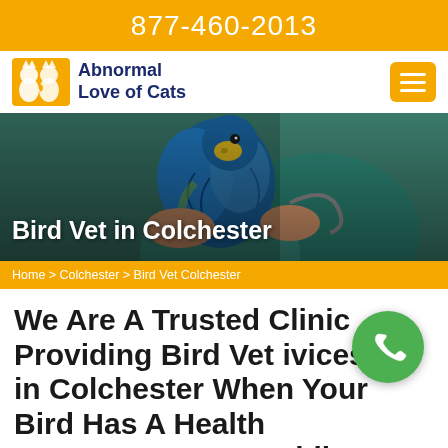877-460-2013
[Figure (logo): Abnormal Love of Cats logo with two cat silhouettes in yellow/orange and site name in dark blue]
[Figure (photo): Hero photo of a blue and gold macaw parrot being held by a veterinarian in teal scrubs with stethoscope]
Bird Vet in Colchester
Home > Colchester > Bird Vet Colchester
We Are A Trusted Clinic Providing Bird Vet Services in Colchester When Your Bird Has A Health Emergency. Our Mobile Bird Vet Services Provides